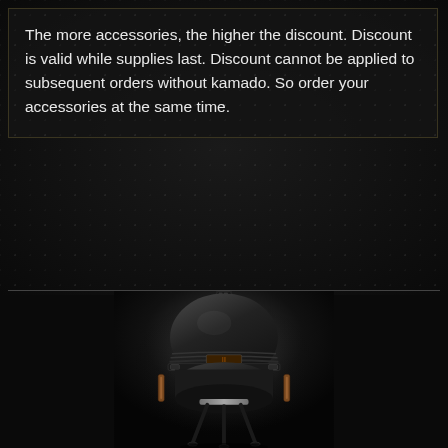The more accessories, the higher the discount. Discount is valid while supplies last. Discount cannot be applied to subsequent orders without kamado. So order your accessories at the same time.
[Figure (photo): Product photo of a black kamado ceramic grill/smoker on a metal stand, with wooden side handles and a thermometer gauge on the front, photographed against a dark background.]